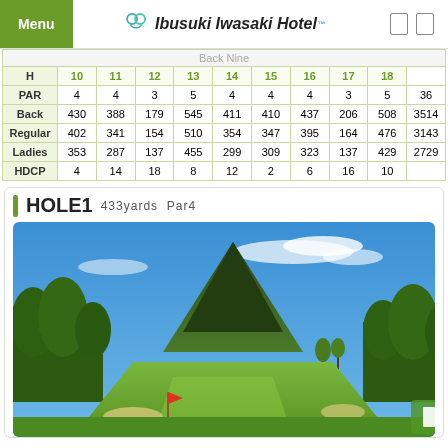Menu | Ibusuki Iwasaki Hotel
| H | 10 | 11 | 12 | 13 | 14 | 15 | 16 | 17 | 18 |  |
| --- | --- | --- | --- | --- | --- | --- | --- | --- | --- | --- |
| PAR | 4 | 4 | 3 | 5 | 4 | 4 | 4 | 3 | 5 | 36 |
| Back | 430 | 388 | 179 | 545 | 411 | 410 | 437 | 206 | 508 | 3514 |
| Regular | 402 | 341 | 154 | 510 | 354 | 347 | 395 | 164 | 476 | 3143 |
| Ladies | 353 | 287 | 137 | 455 | 299 | 309 | 323 | 137 | 429 | 2729 |
| HDCP | 4 | 14 | 18 | 8 | 12 | 2 | 6 | 16 | 10 |  |
HOLE1  433yards  Par4
[Figure (photo): Golf course fairway with a large green volcano mountain in the background under a blue sky. Pine trees on the sides, palm trees visible, red flag in foreground.]